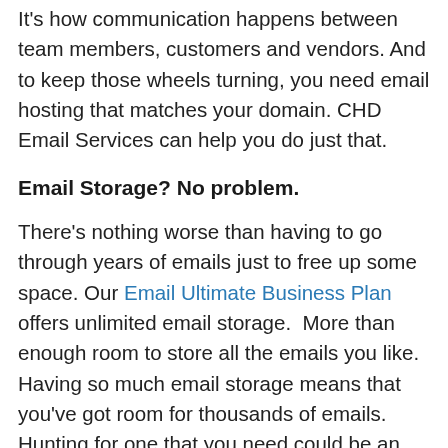It's how communication happens between team members, customers and vendors. And to keep those wheels turning, you need email hosting that matches your domain. CHD Email Services can help you do just that.
Email Storage? No problem.
There's nothing worse than having to go through years of emails just to free up some space. Our Email Ultimate Business Plan offers unlimited email storage.  More than enough room to store all the emails you like. Having so much email storage means that you've got room for thousands of emails. Hunting for one that you need could be an issue. Our search system makes it simple to find what you're looking for, plus it's easy to use. And when you're able